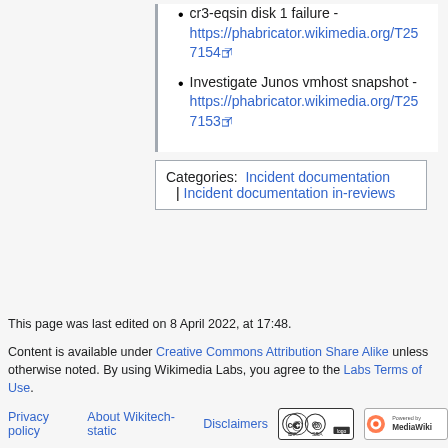cr3-eqsin disk 1 failure - https://phabricator.wikimedia.org/T257154
Investigate Junos vmhost snapshot - https://phabricator.wikimedia.org/T257153
Categories: Incident documentation | Incident documentation in-reviews
This page was last edited on 8 April 2022, at 17:48.
Content is available under Creative Commons Attribution Share Alike unless otherwise noted. By using Wikimedia Labs, you agree to the Labs Terms of Use.
Privacy policy   About Wikitech-static   Disclaimers